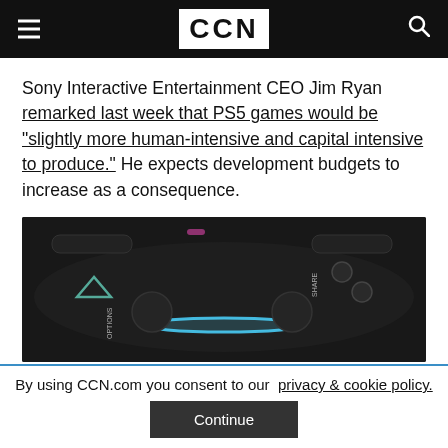CCN
Sony Interactive Entertainment CEO Jim Ryan remarked last week that PS5 games would be "slightly more human-intensive and capital intensive to produce." He expects development budgets to increase as a consequence.
[Figure (photo): Close-up photo of a dark PlayStation controller with a blue light bar glowing, OPTIONS and SHARE buttons visible]
By using CCN.com you consent to our  privacy & cookie policy.
Continue